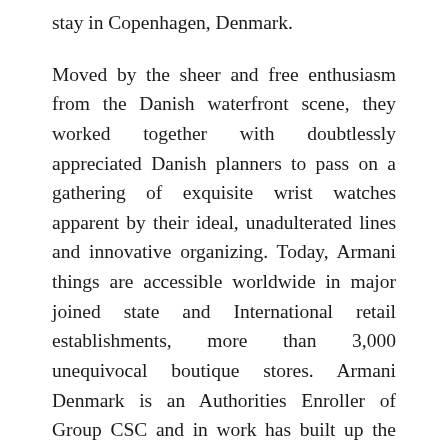stay in Copenhagen, Denmark.
Moved by the sheer and free enthusiasm from the Danish waterfront scene, they worked together with doubtlessly appreciated Danish planners to pass on a gathering of exquisite wrist watches apparent by their ideal, unadulterated lines and innovative organizing. Today, Armani things are accessible worldwide in major joined state and International retail establishments, more than 3,000 unequivocal boutique stores. Armani Denmark is an Authorities Enroller of Group CSC and in work has built up the Group CSC see amassing, a Swiss Made line stimulated by the ace competitors of the globe's fundamental arranged expert biking gathering. Two of these new plans, the Ivan Basso Red Signature Version and the Ivan Basso Yellow Signature Version, are supported by